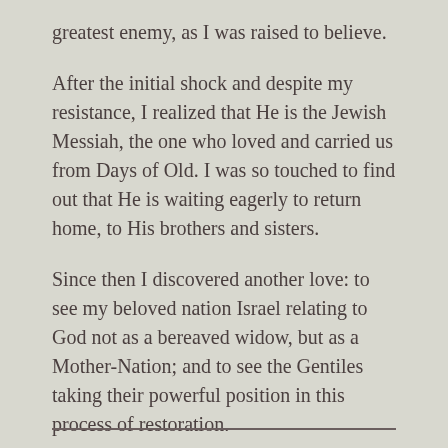greatest enemy, as I was raised to believe.
After the initial shock and despite my resistance, I realized that He is the Jewish Messiah, the one who loved and carried us from Days of Old. I was so touched to find out that He is waiting eagerly to return home, to His brothers and sisters.
Since then I discovered another love: to see my beloved nation Israel relating to God not as a bereaved widow, but as a Mother-Nation; and to see the Gentiles taking their powerful position in this process of restoration.